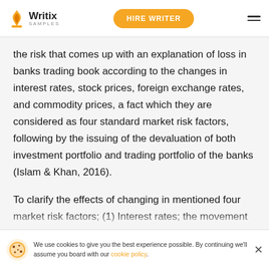Writix SAMPLES | HIRE WRITER
the risk that comes up with an explanation of loss in banks trading book according to the changes in interest rates, stock prices, foreign exchange rates, and commodity prices, a fact which they are considered as four standard market risk factors, following by the issuing of the devaluation of both investment portfolio and trading portfolio of the banks (Islam & Khan, 2016).
To clarify the effects of changing in mentioned four market risk factors; (1) Interest rates; the movement of interest rate can generate the pote
We use cookies to give you the best experience possible. By continuing we'll assume you board with our cookie policy.